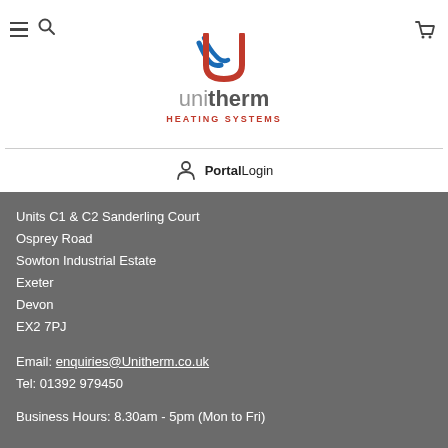[Figure (logo): Unitherm Heating Systems logo with stylized U icon in red and blue, with 'uni' in grey light text and 'therm' in dark bold text, and 'HEATING SYSTEMS' in red small caps below]
Portal Login
Units C1 & C2 Sanderling Court
Osprey Road
Sowton Industrial Estate
Exeter
Devon
EX2 7PJ
Email: enquiries@Unitherm.co.uk
Tel: 01392 979450
Business Hours: 8.30am - 5pm (Mon to Fri)